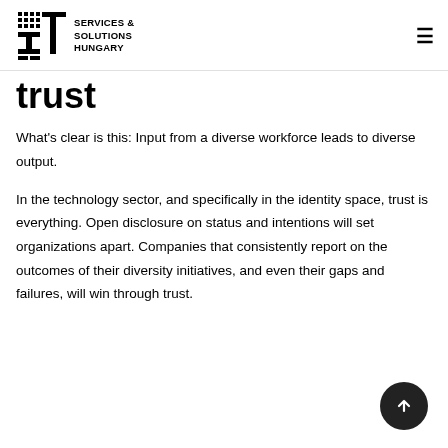IT Services & Solutions Hungary
trust
What's clear is this: Input from a diverse workforce leads to diverse output.
In the technology sector, and specifically in the identity space, trust is everything. Open disclosure on status and intentions will set organizations apart. Companies that consistently report on the outcomes of their diversity initiatives, and even their gaps and failures, will win through trust.